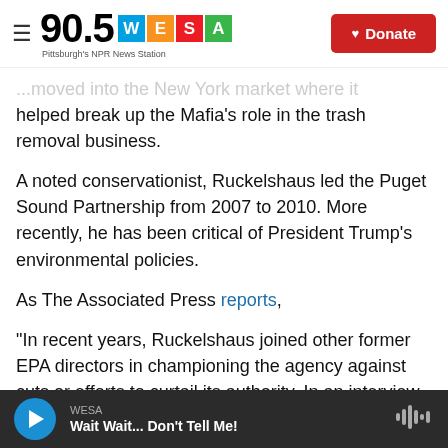90.5 WESA — Pittsburgh's NPR News Station — Donate
...moved into the New York market where it helped break up the Mafia's role in the trash removal business.
A noted conservationist, Ruckelshaus led the Puget Sound Partnership from 2007 to 2010. More recently, he has been critical of President Trump's environmental policies.
As The Associated Press reports,
"In recent years, Ruckelshaus joined other former EPA directors in championing the agency against cuts or efforts to curtail its authority. In an interview
WESA — Wait Wait... Don't Tell Me!